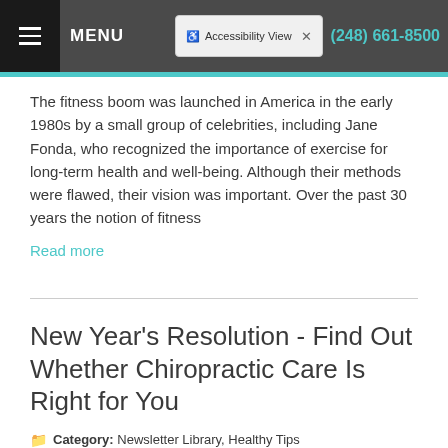MENU  Accessibility View  (248) 661-8500
The fitness boom was launched in America in the early 1980s by a small group of celebrities, including Jane Fonda, who recognized the importance of exercise for long-term health and well-being. Although their methods were flawed, their vision was important. Over the past 30 years the notion of fitness
Read more
New Year's Resolution - Find Out Whether Chiropractic Care Is Right for You
Category: Newsletter Library, Healthy Tips